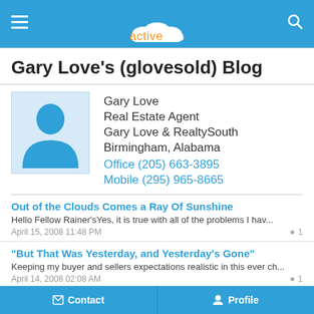activerain
Gary Love's (glovesold) Blog
[Figure (illustration): Default user avatar silhouette on light blue background]
Gary Love
Real Estate Agent
Gary Love & RealtySouth
Birmingham, Alabama
Office (205) 663-3895
Mobile (295) 965-8665
Out of the Clouds Comes a Ray Of Sunshine
Hello Fellow Rainer'sYes, it is true with all of the problems I hav...
April 15, 2008 11:48 PM  💬1
"But That Was Yesterday, and Yesterday's Gone"
Keeping my buyer and sellers expectations realistic in this ever ch...
April 14, 2008 02:08 AM  💬1
Downpayment Assistance Programs?
Hello Everyone,I was wondering if all of my fellow agents out ther...
Contact   Profile